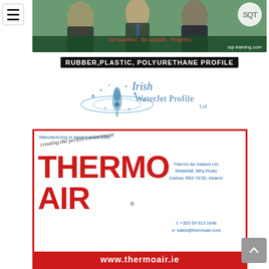[Figure (advertisement): SQT training advertisement banner with people smiling in background, SQT logo circle, tagline 'Get qualified. Be capable. Progress' and url sqt-training.com]
RUBBER,PLASTIC, POLYURETHANE PROFILE
[Figure (logo): Irish WaterJet Profile Ltd. logo with water splash and droplets]
[Figure (advertisement): Thermo Air advertisement. Manufacturing in Ireland since 1980. Creating the perfect environment. Thermo Air Ireland Ltd. Strawhall, Athy Road, Carlow, R83 YE30, Ireland. t: +353 59 913 1646 e: sales@thermoair.com www.thermoair.ie]
Thermo Air Ireland Ltd. Strawhall, Athy Road, Carlow, R83 YE30, Ireland. t: +353 59 913 1646 e: sales@thermoair.com